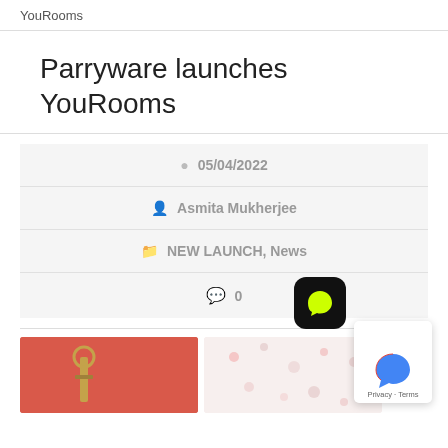YouRooms
Parryware launches YouRooms
05/04/2022
Asmita Mukherjee
NEW LAUNCH, News
0
[Figure (photo): Two interior/bathroom product photos side by side - left shows a coral/salmon wall with a brass wall lamp, right shows a light-colored patterned surface]